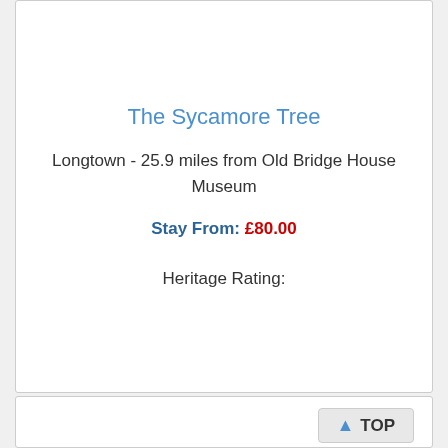The Sycamore Tree
Longtown - 25.9 miles from Old Bridge House Museum
Stay From: £80.00
Heritage Rating:
TOP